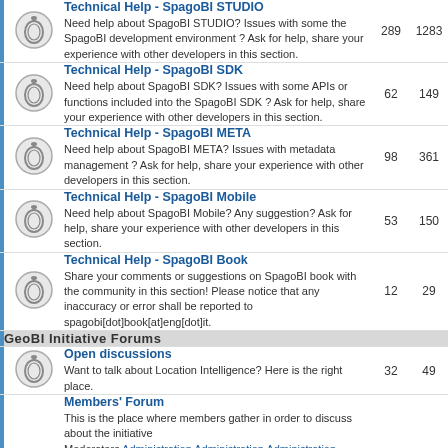|  | Forum | Topics | Posts |
| --- | --- | --- | --- |
| [icon] | Technical Help - SpagoBI STUDIO
Need help about SpagoBI STUDIO? Issues with some the SpagoBI development environment ? Ask for help, share your experience with other developers in this section. | 289 | 1283 |
| [icon] | Technical Help - SpagoBI SDK
Need help about SpagoBI SDK? Issues with some APIs or functions included into the SpagoBI SDK ? Ask for help, share your experience with other developers in this section. | 62 | 149 |
| [icon] | Technical Help - SpagoBI META
Need help about SpagoBI META? Issues with metadata management ? Ask for help, share your experience with other developers in this section. | 98 | 361 |
| [icon] | Technical Help - SpagoBI Mobile
Need help about SpagoBI Mobile? Any suggestion? Ask for help, share your experience with other developers in this section. | 53 | 150 |
| [icon] | Technical Help - SpagoBI Book
Share your comments or suggestions on SpagoBI book with the community in this section! Please notice that any inaccuracy or error shall be reported to spagobi[dot]book[at]eng[dot]it. | 12 | 29 |
| [section] | GeoBI Initiative Forums |  |  |
| [icon] | Open discussions
Want to talk about Location Intelligence? Here is the right place. | 32 | 49 |
| [icon] | Members' Forum
This is the place where members gather in order to discuss about the initiative
Moderators Administration Administration Administration Administration Administration Administration... |  |  |